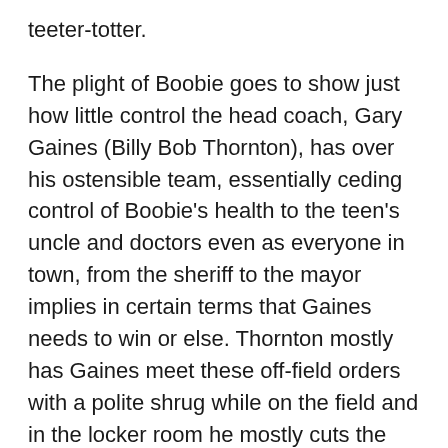teeter-totter.
The plight of Boobie goes to show just how little control the head coach, Gary Gaines (Billy Bob Thornton), has over his ostensible team, essentially ceding control of Boobie's health to the teen's uncle and doctors even as everyone in town, from the sheriff to the mayor implies in certain terms that Gaines needs to win or else. Thornton mostly has Gaines meet these off-field orders with a polite shrug while on the field and in the locker room he mostly cuts the figure of a conventional football coach. Whatever goes into this running a program or on-field strategizing mostly goes uncovered. What's more, Thornton's performance never quite gets to the core of what makes Gaines tick, what drives him to keep going forward in the face of so much insane external pressure, why he wants or needs to coach.
Connie Britton, meanwhile, playing his wife Sharon, is relegated to the periphery. And yet, while she would go on to star in the FX television series based on “Friday Night Lights” from 2006 to 2011, where her role was fleshed out and her performance earned raves, garnering two Emmy